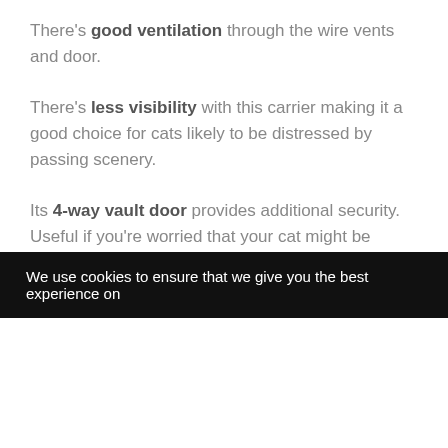There's good ventilation through the wire vents and door.
There's less visibility with this carrier making it a good choice for cats likely to be distressed by passing scenery.
Its 4-way vault door provides additional security. Useful if you're worried that your cat might be planning a jailbreak.
We use cookies to ensure that we give you the best experience on